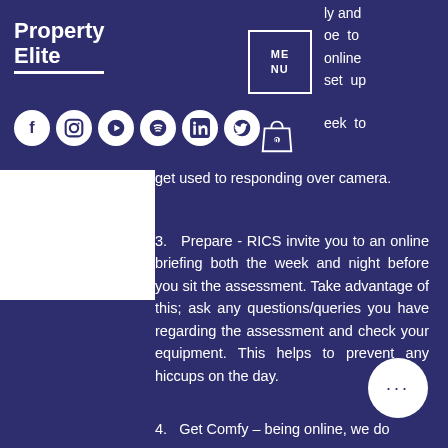Property Elite
get used to responding over camera.
3.  Prepare - RICS invite you to an online briefing both the week and night before you sit the assessment. Take advantage of this; ask any questions/queries you have regarding the assessment and check your equipment. This helps to prevent any hiccups on the day.
4.  Get Comfy – being online, we do